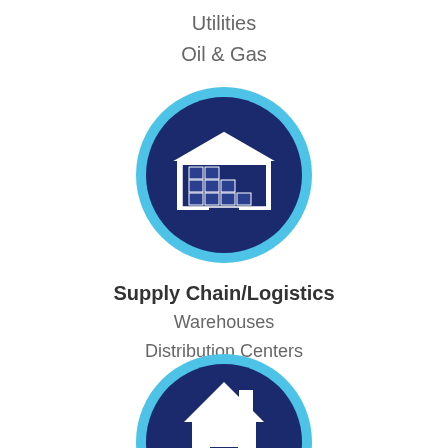Utilities
Oil & Gas
[Figure (illustration): Circular icon with dark navy blue background and light blue ring border, showing a white warehouse/storage building with stacked boxes inside, representing Supply Chain/Logistics]
Supply Chain/Logistics
Warehouses
Distribution Centers
Data Centers
[Figure (illustration): Circular icon with dark navy blue background and light blue ring border, showing a white house/home icon, partially visible at bottom of page]